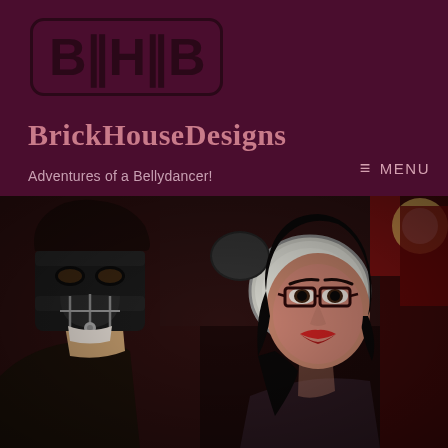[Figure (logo): BHB logo in black on dark maroon background, bold stylized letters B-H-B with double vertical bars in a rounded rectangle border]
BrickHouseDesigns
≡  MENU
Adventures of a Bellydancer!
[Figure (photo): Two people in a dimly lit bar/venue. Left person wears a black leather Bane-style mask with metal hardware. Right person is a woman with short black hair, red lipstick, and dark-framed glasses. Drum kit visible in background, red and dark ambient lighting.]